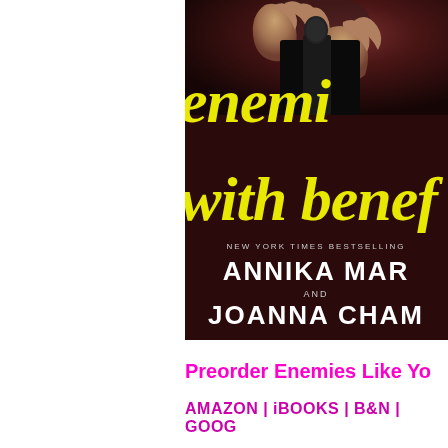[Figure (illustration): Book cover for 'Enemies with Benefits' by Annika Martin and Joanna Chambers (New York Times Bestselling authors). Dark background with hands gripping something at top, large yellow italic title text 'enemies with benefits', and white author names at bottom.]
Preorder Enemies Like Yo...
AMAZON | iBOOKS | B&N | GOOG...